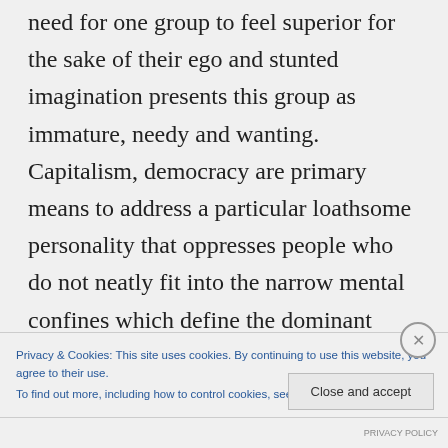need for one group to feel superior for the sake of their ego and stunted imagination presents this group as immature, needy and wanting. Capitalism, democracy are primary means to address a particular loathsome personality that oppresses people who do not neatly fit into the narrow mental confines which define the dominant social and cultural structures which have
Privacy & Cookies: This site uses cookies. By continuing to use this website, you agree to their use.
To find out more, including how to control cookies, see here: Cookie Policy